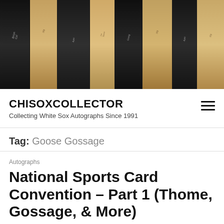[Figure (photo): Row of signed baseball bats standing vertically, alternating dark and light colored bats with autographs visible, photographed from close up against dark background]
CHISOXCOLLECTOR
Collecting White Sox Autographs Since 1991
Tag: Goose Gossage
Autographs
National Sports Card Convention – Part 1 (Thome, Gossage, & More)